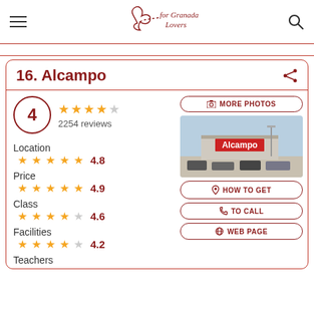for Granada Lovers (logo)
16. Alcampo
4 — 4 stars out of 5 — 2254 reviews
Location 4.8
Price 4.9
Class 4.6
Facilities 4.2
Teachers
[Figure (photo): Exterior photo of Alcampo superstore with parking lot and sign reading Alcampo]
MORE PHOTOS
HOW TO GET
TO CALL
WEB PAGE